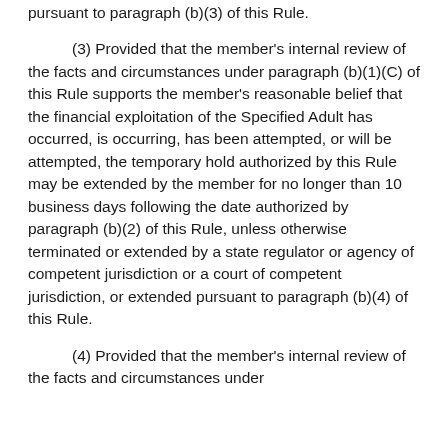pursuant to paragraph (b)(3) of this Rule.
(3) Provided that the member's internal review of the facts and circumstances under paragraph (b)(1)(C) of this Rule supports the member's reasonable belief that the financial exploitation of the Specified Adult has occurred, is occurring, has been attempted, or will be attempted, the temporary hold authorized by this Rule may be extended by the member for no longer than 10 business days following the date authorized by paragraph (b)(2) of this Rule, unless otherwise terminated or extended by a state regulator or agency of competent jurisdiction or a court of competent jurisdiction, or extended pursuant to paragraph (b)(4) of this Rule.
(4) Provided that the member's internal review of the facts and circumstances under